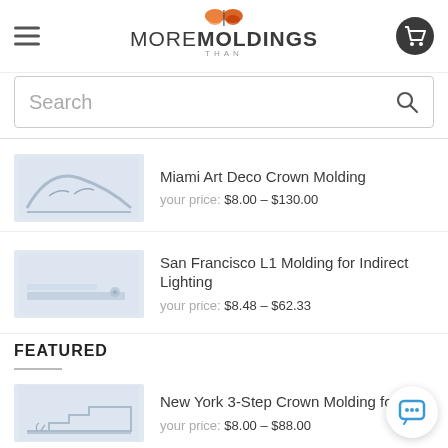[Figure (logo): More Than Moldings logo with orange butterfly above text]
Search
[Figure (illustration): Miami Art Deco Crown Molding product thumbnail]
Miami Art Deco Crown Molding
your price: $8.00 – $130.00
[Figure (illustration): San Francisco L1 Molding for Indirect Lighting product thumbnail]
San Francisco L1 Molding for Indirect Lighting
your price: $8.48 – $62.33
FEATURED
[Figure (illustration): New York 3-Step Crown Molding product thumbnail]
New York 3-Step Crown Molding for
your price: $8.00 – $88.00